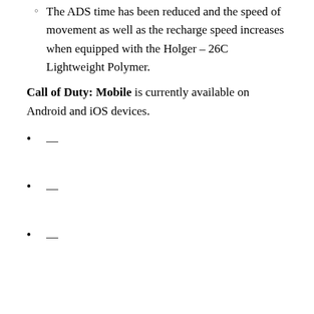The ADS time has been reduced and the speed of movement as well as the recharge speed increases when equipped with the Holger – 26C Lightweight Polymer.
Call of Duty: Mobile is currently available on Android and iOS devices.
—
—
—